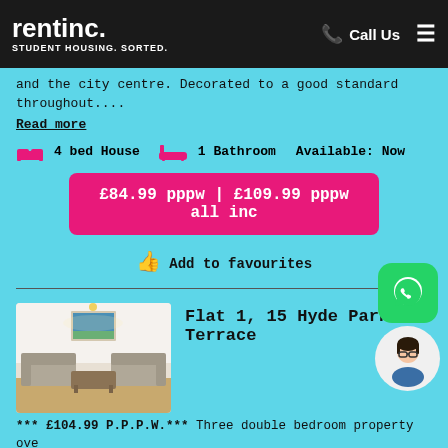rentinc. STUDENT HOUSING. SORTED. | Call Us
and the city centre. Decorated to a good standard throughout.... Read more
4 bed House  1 Bathroom  Available: Now
£84.99 pppw | £109.99 pppw all inc
Add to favourites
Flat 1, 15 Hyde Park Terrace
[Figure (photo): Interior photo of a modern living room with sofas and a coffee table]
*** £104.99 P.P.P.W.*** Three double bedroom property ove private garden to the rear. Close to the Hyde Park Pub an centre. All bedrooms include double beds, built-in wardrobes,...